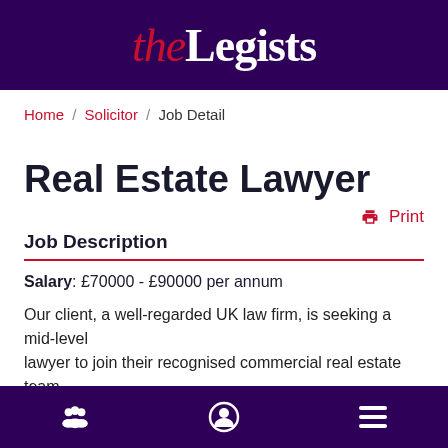the Legists
Home / Solicitor / Job Detail
Real Estate Lawyer
Print
Job Description
Salary: £70000 - £90000 per annum
Our client, a well-regarded UK law firm, is seeking a mid-level lawyer to join their recognised commercial real estate team
Navigation icons: groups, user, menu